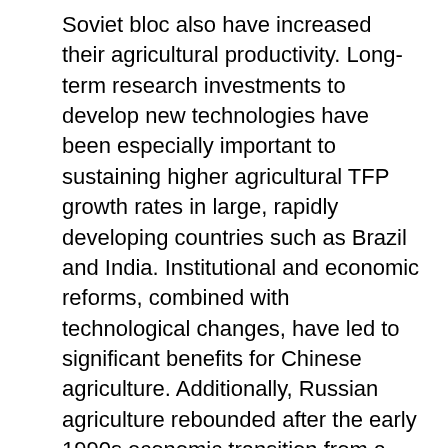Soviet bloc also have increased their agricultural productivity. Long-term research investments to develop new technologies have been especially important to sustaining higher agricultural TFP growth rates in large, rapidly developing countries such as Brazil and India. Institutional and economic reforms, combined with technological changes, have led to significant benefits for Chinese agriculture. Additionally, Russian agriculture rebounded after the early 1990s economic transition from a planned to a market-based economy, and the southern region of the country achieved notable productivity improvement. In contrast, under-investment in agricultural research remains an important barrier to stimulating agricultural productivity growth in Sub-Saharan Africa. This chart appears in USDA, Economic Research Service data product for International Agricultural Productivity, updated